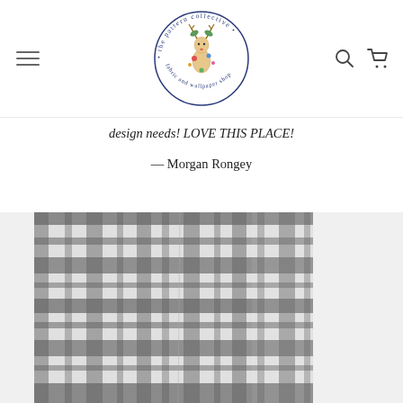[Figure (logo): The Pattern Collective fabric and wallpaper shop circular logo with deer and floral design]
design needs! LOVE THIS PLACE!
— Morgan Rongey
[Figure (photo): Black and white plaid/tartan fabric or curtain hung against a white wall]